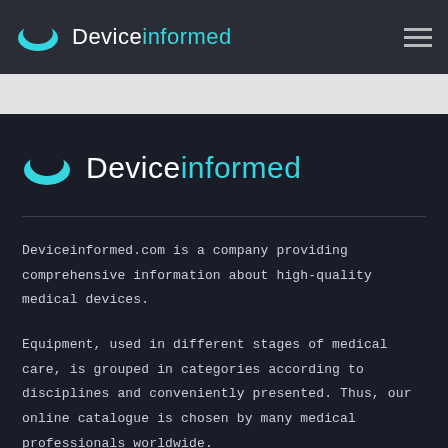Deviceinformed
Deviceinformed
Deviceinformed.com is a company providing comprehensive information about high-quality medical devices.
Equipment, used in different stages of medical care, is grouped in categories according to disciplines and conveniently presented. Thus, our online catalogue is chosen by many medical professionals worldwide.